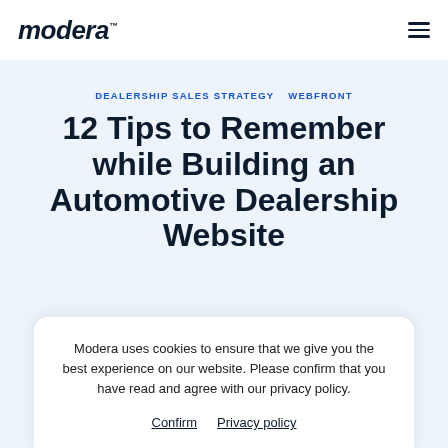modera™
DEALERSHIP SALES STRATEGY   WEBFRONT
12 Tips to Remember while Building an Automotive Dealership Website
Modera uses cookies to ensure that we give you the best experience on our website. Please confirm that you have read and agree with our privacy policy.
Confirm   Privacy policy